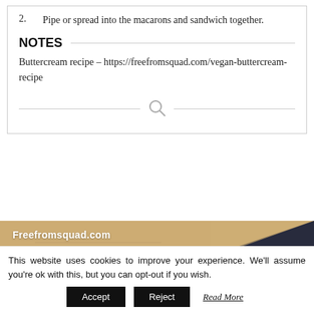2. Pipe or spread into the macarons and sandwich together.
NOTES
Buttercream recipe – https://freefromsquad.com/vegan-buttercream-recipe
[Figure (photo): Close-up photo of baked macaron shells — tan/beige surface with dark navy-blue textured surface visible along a diagonal line. Watermark text 'Freefromsquad.com' in white in upper-left corner.]
This website uses cookies to improve your experience. We'll assume you're ok with this, but you can opt-out if you wish.